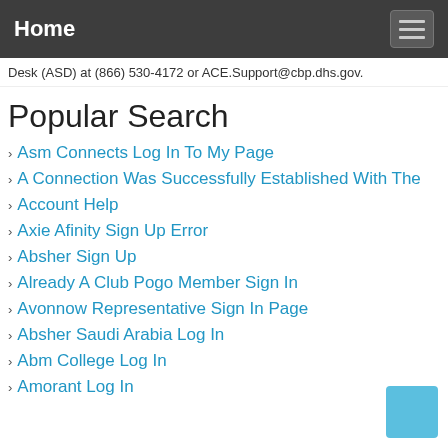Home
Desk (ASD) at (866) 530-4172 or ACE.Support@cbp.dhs.gov.
Popular Search
Asm Connects Log In To My Page
A Connection Was Successfully Established With The
Account Help
Axie Afinity Sign Up Error
Absher Sign Up
Already A Club Pogo Member Sign In
Avonnow Representative Sign In Page
Absher Saudi Arabia Log In
Abm College Log In
Amorant Log In